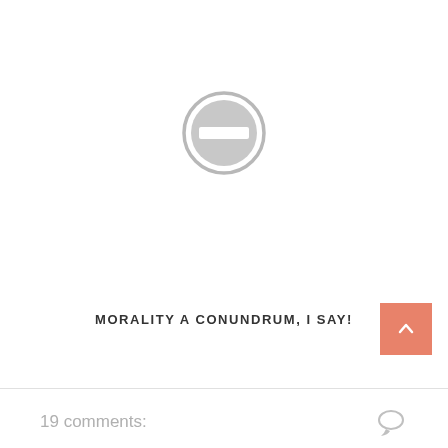[Figure (illustration): A grey circle with a horizontal minus/dash bar in the center, resembling a 'no entry' or blocked icon.]
MORALITY A CONUNDRUM, I SAY!
19 comments: